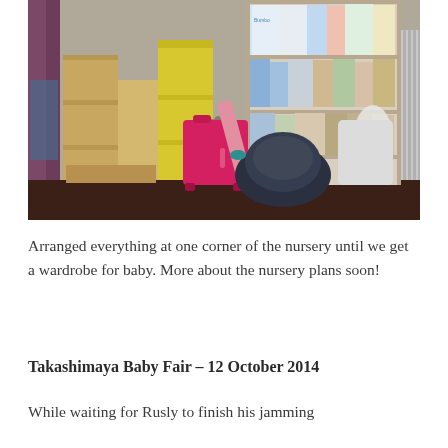[Figure (photo): Photo of a nursery corner showing stacked cardboard boxes, yellow diaper packs, a bright pink suitcase, a baby car seat, shelving unit with books and baby products, and a radiator on the right side.]
Arranged everything at one corner of the nursery until we get a wardrobe for baby. More about the nursery plans soon!
Takashimaya Baby Fair – 12 October 2014
While waiting for Rusly to finish his jamming